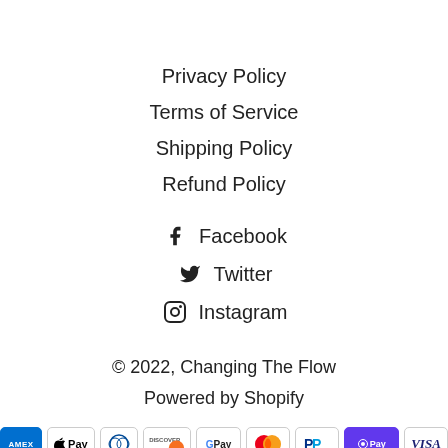Privacy Policy
Terms of Service
Shipping Policy
Refund Policy
Facebook
Twitter
Instagram
© 2022, Changing The Flow
Powered by Shopify
[Figure (other): Payment method icons: American Express, Apple Pay, Diners Club, Discover, Google Pay, Mastercard, PayPal, Shop Pay, Visa]